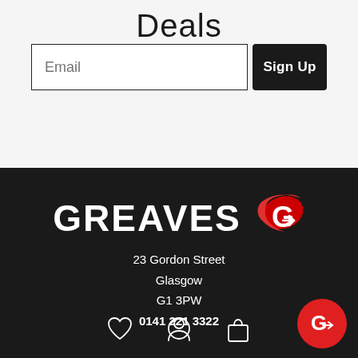Deals
Email
Sign Up
[Figure (logo): Greaves logo with red G icon on dark background]
23 Gordon Street
Glasgow
G1 3PW
0141 221 3322
[Figure (other): Bottom navigation icons: heart, person, shopping bag]